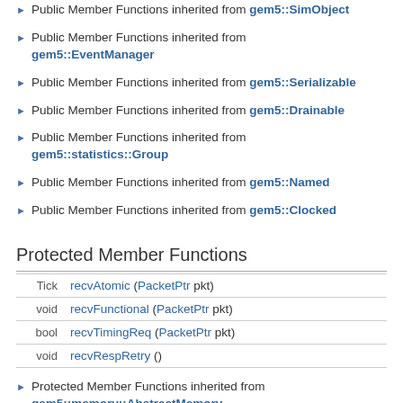Public Member Functions inherited from gem5::SimObject
Public Member Functions inherited from gem5::EventManager
Public Member Functions inherited from gem5::Serializable
Public Member Functions inherited from gem5::Drainable
Public Member Functions inherited from gem5::statistics::Group
Public Member Functions inherited from gem5::Named
Public Member Functions inherited from gem5::Clocked
Protected Member Functions
|  |  |
| --- | --- |
| Tick | recvAtomic (PacketPtr pkt) |
| void | recvFunctional (PacketPtr pkt) |
| bool | recvTimingReq (PacketPtr pkt) |
| void | recvRespRetry () |
Protected Member Functions inherited from gem5::memory::AbstractMemory